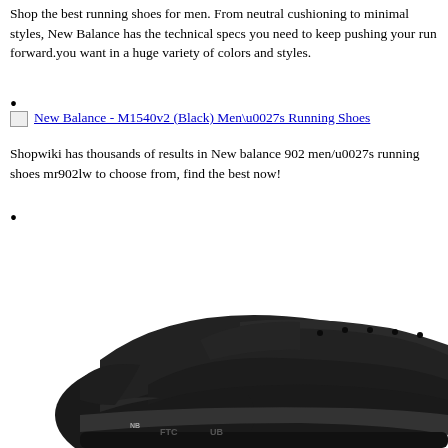Shop the best running shoes for men. From neutral cushioning to minimal styles, New Balance has the technical specs you need to keep pushing your run forward.you want in a huge variety of colors and styles.
•
[image] New Balance - M1540v2 (Black) Men\u0027s Running Shoes
Shopwiki has thousands of results in New balance 902 men/u0027s running shoes mr902lw to choose from, find the best now!
•
[Figure (photo): Close-up photo of a black New Balance running shoe, showing the mesh upper, laces, and sole from a side-top angle against a white background.]